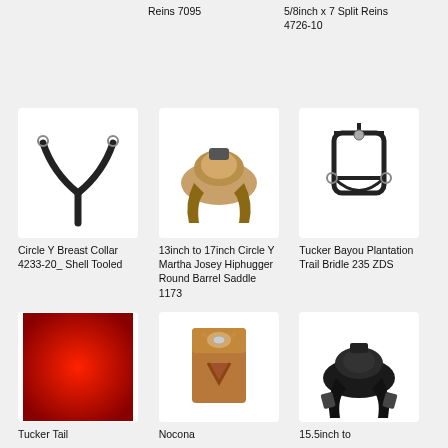Reins 7095
5/8inch x 7 Split Reins 4726-10
[Figure (photo): Circle Y breast collar, black leather Y-shaped breast collar with hardware on white background]
Circle Y Breast Collar 4233-20_ Shell Tooled
[Figure (photo): 13 to 17 inch Circle Y Martha Josey Hiphugger Round Barrel Saddle, tan leather western saddle on white background]
13inch to 17inch Circle Y Martha Josey Hiphugger Round Barrel Saddle 1173
[Figure (photo): Tucker Bayou Plantation Trail Bridle 235 ZDS, black leather bridle on white background]
Tucker Bayou Plantation Trail Bridle 235 ZDS
[Figure (photo): Tucker Tail product, red dotted square background image]
Tucker Tail
[Figure (photo): Nocona leather wallet/trifold with bull skull emblem on white background]
Nocona
[Figure (photo): 15.5inch to saddle, black western saddle on white background]
15.5inch to